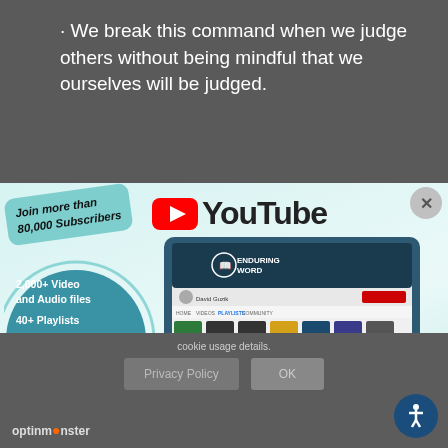· We break this command when we judge others without being mindful that we ourselves will be judged.
[Figure (screenshot): YouTube promotional banner for Enduring Word channel showing monitor with YouTube page, 'Join more than 80,000 Subscribers' badge, features list (2,000+ Video and Audio files, 40+ Playlists, New Content Daily, Q&A Livestream Every Thursday), and Subscribe badge with bell icon. Close button top right.]
cookie usage details.
Privacy Policy
OK